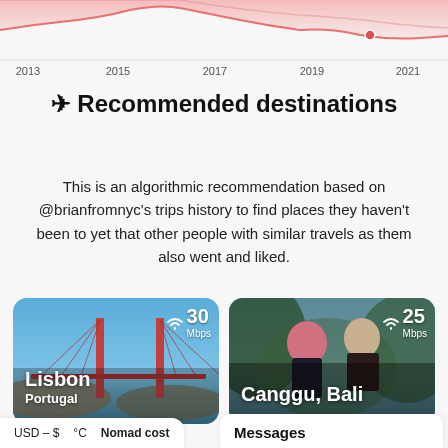[Figure (continuous-plot): Partial line chart (top portion cut off) showing a time series from 2013 to 2021, with axis labels: 2013, 2015, 2017, 2019, 2021. Pink/red area chart with two lines, a dot marker near 2020.]
✈ Recommended destinations
This is an algorithmic recommendation based on @brianfromnyc's trips history to find places they haven't been to yet that other people with similar travels as them also went and liked.
[Figure (photo): Photo card of Lisbon, Portugal. Shows a suspension bridge (25 de Abril Bridge) with red towers against a blue sky. WiFi speed badge: 30 Mbps. City label: Lisbon, Country: Portugal.]
[Figure (photo): Photo card of Canggu, Bali. Shows two people against a tropical background. WiFi speed badge: 25 Mbps. City label: Canggu, Bali.]
USD – $   °C   Nomad cost
Messages